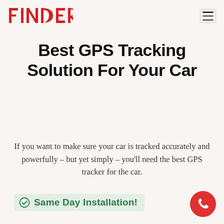[Figure (logo): FINDER brand logo in red styled lettering with TM mark]
Best GPS Tracking Solution For Your Car
If you want to make sure your car is tracked accurately and powerfully – but yet simply – you'll need the best GPS tracker for the car.
✔ Same Day Installation!